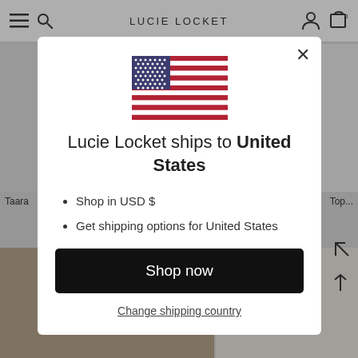LUCIE LOCKET
[Figure (screenshot): Modal dialog on Lucie Locket website showing US flag, shipping destination message, bullet points, and shop now button]
Lucie Locket ships to United States
Shop in USD $
Get shipping options for United States
Shop now
Change shipping country